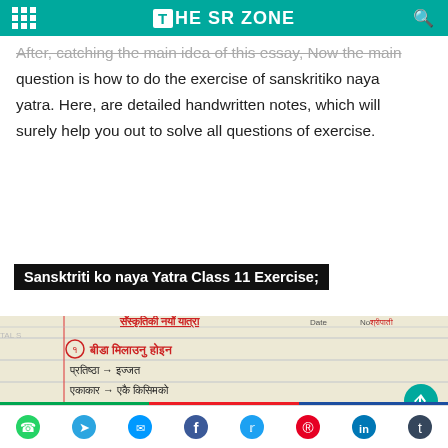THE SR ZONE
After, catching the main idea of this essay, Now the main question is how to do the exercise of sanskritiko naya yatra. Here, are detailed handwritten notes, which will surely help you out to solve all questions of exercise.
Sansktriti ko naya Yatra Class 11 Exercise;
[Figure (photo): Handwritten notes in Nepali/Devanagari script for Sanskritiko Naya Yatra Class 11 exercise, showing vocabulary and definitions on ruled notebook paper.]